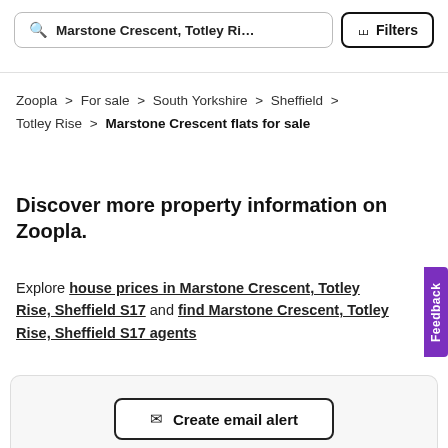Marstone Crescent, Totley Ri... Filters
Zoopla > For sale > South Yorkshire > Sheffield > Totley Rise > Marstone Crescent flats for sale
Discover more property information on Zoopla.
Explore house prices in Marstone Crescent, Totley Rise, Sheffield S17 and find Marstone Crescent, Totley Rise, Sheffield S17 agents